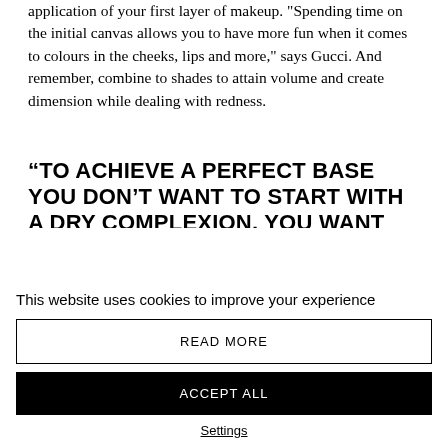application of your first layer of makeup. "Spending time on the initial canvas allows you to have more fun when it comes to colours in the cheeks, lips and more," says Gucci. And remember, combine to shades to attain volume and create dimension while dealing with redness.
“TO ACHIEVE A PERFECT BASE YOU DON’T WANT TO START WITH A DRY COMPLEXION, YOU WANT FOR IT TO BE VERY HYDRATED AND HARMONIOUS.”
This website uses cookies to improve your experience
READ MORE
ACCEPT ALL
Settings